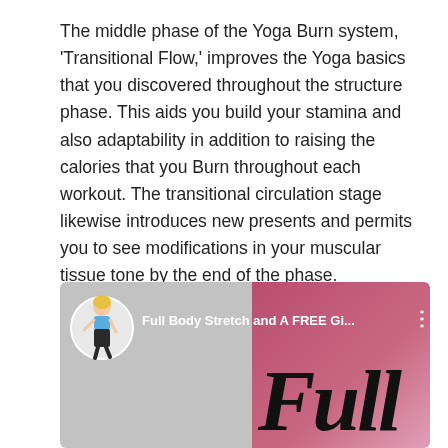The middle phase of the Yoga Burn system, 'Transitional Flow,' improves the Yoga basics that you discovered throughout the structure phase. This aids you build your stamina and also adaptability in addition to raising the calories that you Burn throughout each workout. The transitional circulation stage likewise introduces new presents and permits you to see modifications in your muscular tissue tone by the end of the phase.
[Figure (screenshot): Screenshot of a YouTube video thumbnail showing 'Full Body Stretch and A FREE Gi...' with a blonde woman in fitness wear as the avatar and large italic text 'Full' on a pink-to-mauve gradient background.]